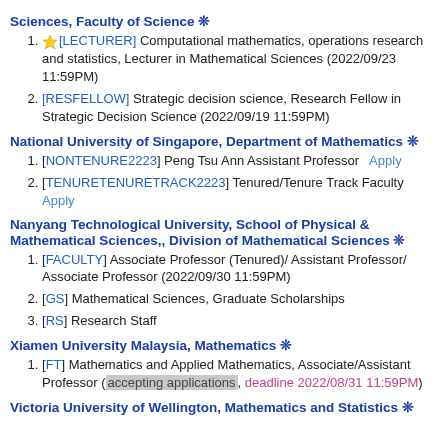Sciences, Faculty of Science ❊
[LECTURER] Computational mathematics, operations research and statistics, Lecturer in Mathematical Sciences (2022/09/23 11:59PM)
[RESFELLOW] Strategic decision science, Research Fellow in Strategic Decision Science (2022/09/19 11:59PM)
National University of Singapore, Department of Mathematics ❊
[NONTENURE2223] Peng Tsu Ann Assistant Professor   Apply
[TENURETENURETRACK2223] Tenured/Tenure Track Faculty   Apply
Nanyang Technological University, School of Physical & Mathematical Sciences,, Division of Mathematical Sciences ❊
[FACULTY] Associate Professor (Tenured)/ Assistant Professor/ Associate Professor (2022/09/30 11:59PM)
[GS] Mathematical Sciences, Graduate Scholarships
[RS] Research Staff
Xiamen University Malaysia, Mathematics ❊
[FT] Mathematics and Applied Mathematics, Associate/Assistant Professor (accepting applications, deadline 2022/08/31 11:59PM)
Victoria University of Wellington, Mathematics and Statistics ❊